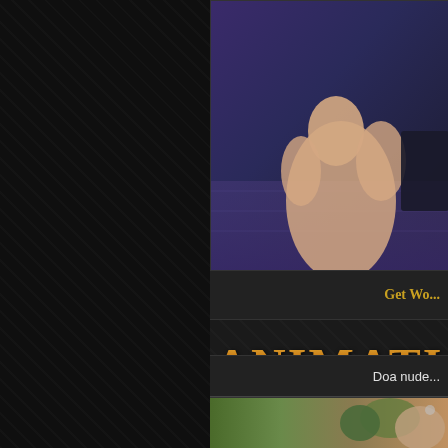[Figure (screenshot): Top portion of adult animation website showing 3D rendered figure on dark purple/blue background]
Get Wo...
ANIMATI...
Doa nude...
[Figure (illustration): Cartoon illustration showing animated characters in green and flesh tones]